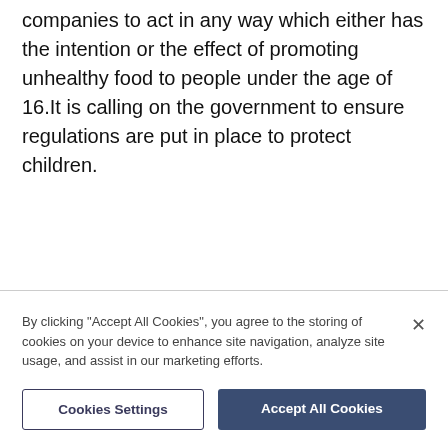companies to act in any way which either has the intention or the effect of promoting unhealthy food to people under the age of 16.It is calling on the government to ensure regulations are put in place to protect children.
By clicking "Accept All Cookies", you agree to the storing of cookies on your device to enhance site navigation, analyze site usage, and assist in our marketing efforts.